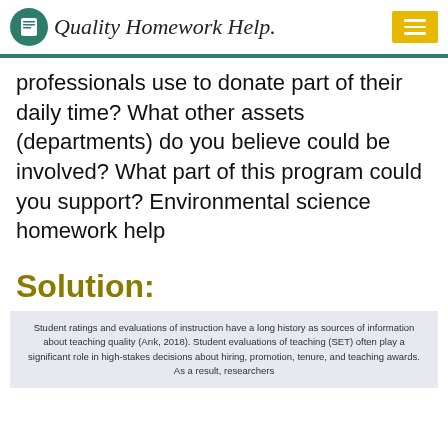Quality Homework Help.
professionals use to donate part of their daily time? What other assets (departments) do you believe could be involved? What part of this program could you support? Environmental science homework help
Solution:
Student ratings and evaluations of instruction have a long history as sources of information about teaching quality (Arik, 2018). Student evaluations of teaching (SET) often play a significant role in high-stakes decisions about hiring, promotion, tenure, and teaching awards. As a result, researchers